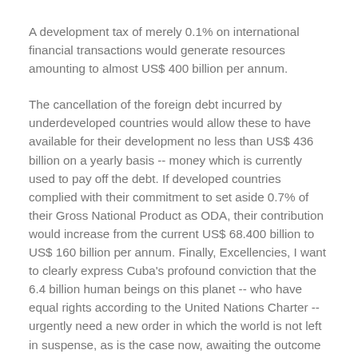A development tax of merely 0.1% on international financial transactions would generate resources amounting to almost US$ 400 billion per annum.
The cancellation of the foreign debt incurred by underdeveloped countries would allow these to have available for their development no less than US$ 436 billion on a yearly basis -- money which is currently used to pay off the debt. If developed countries complied with their commitment to set aside 0.7% of their Gross National Product as ODA, their contribution would increase from the current US$ 68.400 billion to US$ 160 billion per annum. Finally, Excellencies, I want to clearly express Cuba's profound conviction that the 6.4 billion human beings on this planet -- who have equal rights according to the United Nations Charter -- urgently need a new order in which the world is not left in suspense, as is the case now, awaiting the outcome of the elections in a new